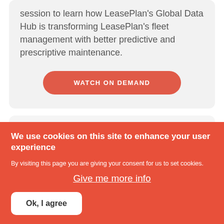session to learn how LeasePlan's Global Data Hub is transforming LeasePlan's fleet management with better predictive and prescriptive maintenance.
WATCH ON DEMAND
We use cookies on this site to enhance your user experience
By visiting this page you are giving your consent for us to set cookies.
Give me more info
Ok, I agree